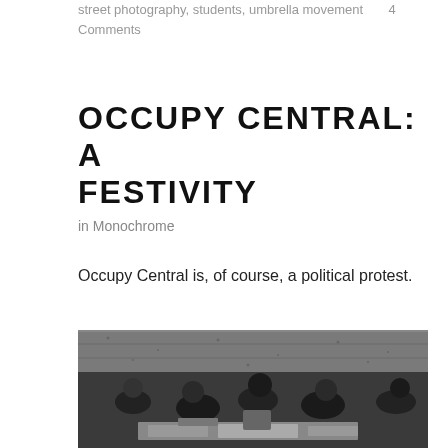street photography, students, umbrella movement    4 Comments
OCCUPY CENTRAL: A FESTIVITY
in Monochrome
Occupy Central is, of course, a political protest.
[Figure (photo): Black and white photograph of students sitting on the ground, working on papers and signs together, with a concrete wall in the background — taken during the Occupy Central / Umbrella Movement protest.]